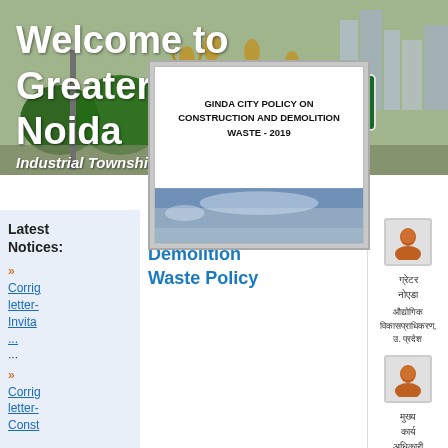[Figure (photo): Hero banner image showing Greater Noida cityscape with sculptures, trees, and buildings. Text overlay reads 'Welcome to Greater Noida' and 'Industrial Township']
Welcome to Greater Noida
Industrial Township
Latest Notices:
Construction and Demolition Waste Policy
» Corrig letter- Invita...
» Corrig letter- Const...
[Figure (screenshot): Document preview showing 'GINDA CITY POLICY ON CONSTRUCTION AND DEMOLITION WASTE - 2019' with a sky image below]
GINDA CITY POLICY ON CONSTRUCTION AND DEMOLITION WASTE - 2019